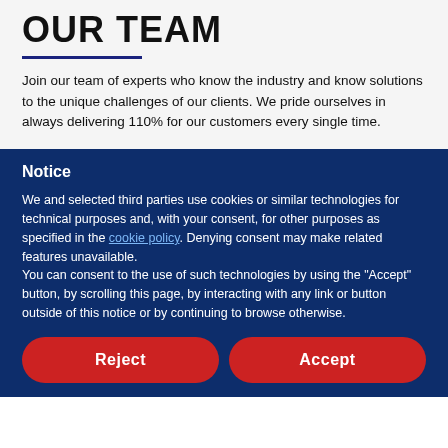OUR TEAM
Join our team of experts who know the industry and know solutions to the unique challenges of our clients. We pride ourselves in always delivering 110% for our customers every single time.
Notice
We and selected third parties use cookies or similar technologies for technical purposes and, with your consent, for other purposes as specified in the cookie policy. Denying consent may make related features unavailable.
You can consent to the use of such technologies by using the "Accept" button, by scrolling this page, by interacting with any link or button outside of this notice or by continuing to browse otherwise.